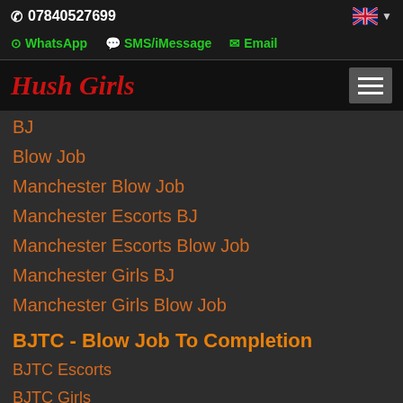07840527699
WhatsApp  SMS/iMessage  Email
Hush Girls
BJ
Blow Job
Manchester Blow Job
Manchester Escorts BJ
Manchester Escorts Blow Job
Manchester Girls BJ
Manchester Girls Blow Job
BJTC - Blow Job To Completion
BJTC Escorts
BJTC Girls